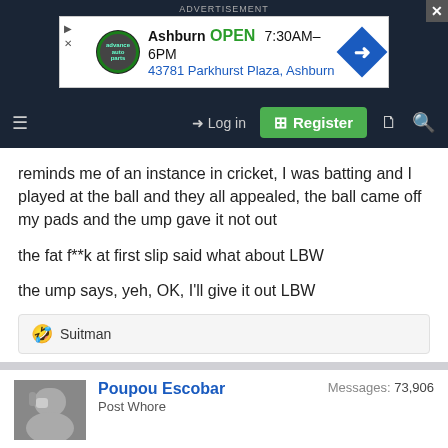ADVERTISEMENT
[Figure (other): Advance Auto Parts advertisement banner showing Ashburn location, OPEN 7:30AM-6PM, 43781 Parkhurst Plaza, Ashburn]
Log in | Register
reminds me of an instance in cricket, I was batting and I played at the ball and they all appealed, the ball came off my pads and the ump gave it not out
the fat f**k at first slip said what about LBW
the ump says, yeh, OK, I'll give it out LBW
🤣 Suitman
Poupou Escobar
Post Whore
Messages: 73,906